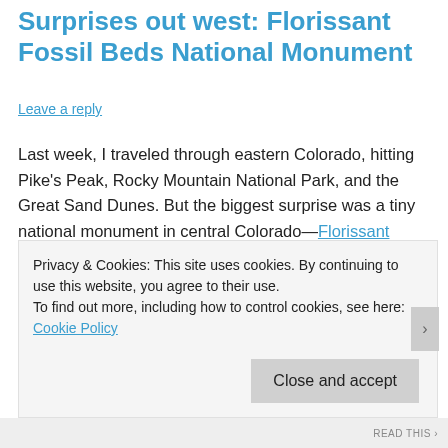Surprises out west: Florissant Fossil Beds National Monument
Leave a reply
Last week, I traveled through eastern Colorado, hitting Pike’s Peak, Rocky Mountain National Park, and the Great Sand Dunes. But the biggest surprise was a tiny national monument in central Colorado—Florissant Fossil Beds National Monument. Florissant Fossil Beds has provided fossils to the scientific community for over 100 years; an estimated 40,000-50,000 specimens of some 1500 species. As a visitor, you learn about how the fossils at Florissant
Privacy & Cookies: This site uses cookies. By continuing to use this website, you agree to their use.
To find out more, including how to control cookies, see here: Cookie Policy
Close and accept